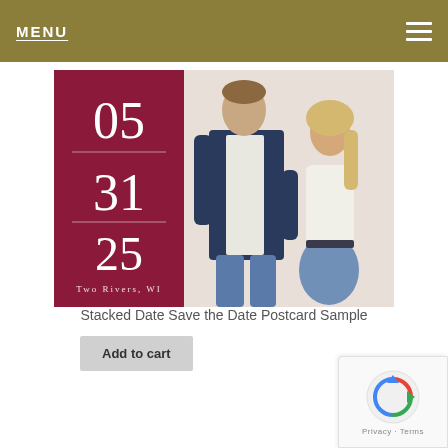MENU
[Figure (photo): Save the date postcard product image showing a split design: left side burgundy/maroon panel with large stacked numbers 05, 31, 25 in white serif font with horizontal dividers and 'Two Rivers, WI' text at the bottom; right side shows a couple posing — man in navy blazer and white shirt, woman in white patterned top and blue skirt]
Stacked Date Save the Date Postcard Sample
Add to cart